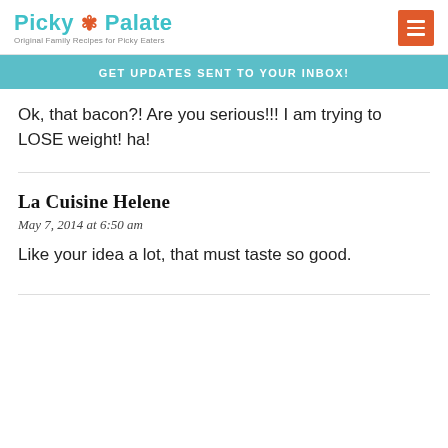Picky Palate — Original Family Recipes for Picky Eaters
GET UPDATES SENT TO YOUR INBOX!
Ok, that bacon?! Are you serious!!! I am trying to LOSE weight! ha!
La Cuisine Helene
May 7, 2014 at 6:50 am
Like your idea a lot, that must taste so good.